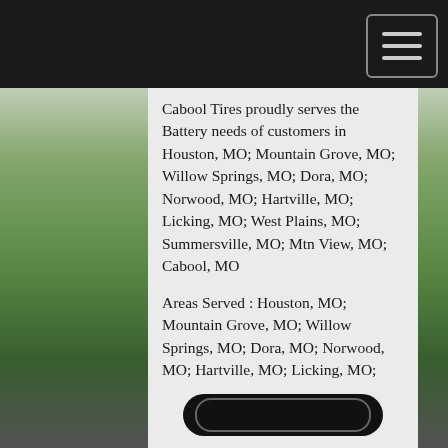Cabool Tires proudly serves the Battery needs of customers in Houston, MO; Mountain Grove, MO; Willow Springs, MO; Dora, MO; Norwood, MO; Hartville, MO; Licking, MO; West Plains, MO; Summersville, MO; Mtn View, MO; Cabool, MO
Areas Served : Houston, MO; Mountain Grove, MO; Willow Springs, MO; Dora, MO; Norwood, MO; Hartville, MO; Licking, MO; West Plains, MO; Summersville, MO; Mtn View, MO; Cabool, MO and surrounding areas